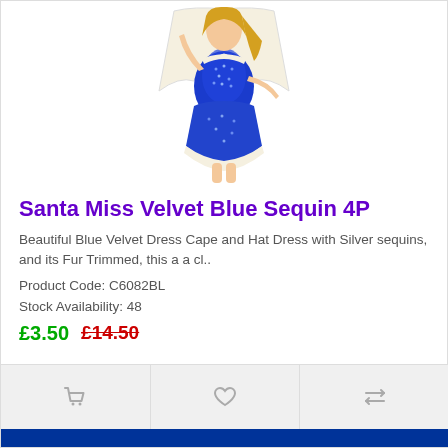[Figure (photo): Woman wearing a blue sequin Santa dress with fur trim and cape]
Santa Miss Velvet Blue Sequin 4P
Beautiful Blue Velvet Dress Cape and Hat Dress with Silver sequins, and its Fur Trimmed, this a a cl..
Product Code: C6082BL
Stock Availability: 48
£3.50  £14.50